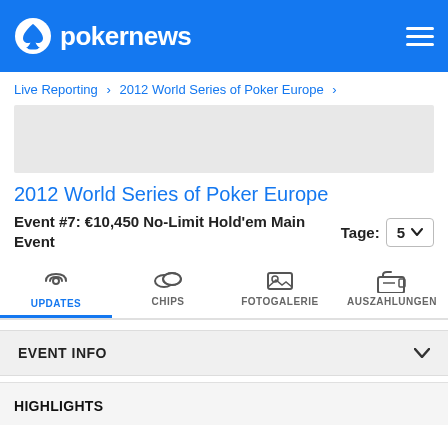pokernews
Live Reporting > 2012 World Series of Poker Europe >
[Figure (other): Advertisement placeholder gray box]
2012 World Series of Poker Europe
Event #7: €10,450 No-Limit Hold'em Main Event   Tage: 5
[Figure (infographic): Navigation tabs: UPDATES (active, radio wave icon), CHIPS (poker chips icon), FOTOGALERIE (image icon), AUSZAHLUNGEN (wallet icon)]
EVENT INFO
HIGHLIGHTS